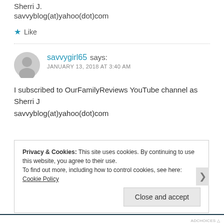Sherri J.
savvyblog(at)yahoo(dot)com
Like
savvygirl65 says:
JANUARY 13, 2018 AT 3:40 AM
I subscribed to OurFamilyReviews YouTube channel as Sherri J
savvyblog(at)yahoo(dot)com
Privacy & Cookies: This site uses cookies. By continuing to use this website, you agree to their use.
To find out more, including how to control cookies, see here: Cookie Policy
Close and accept